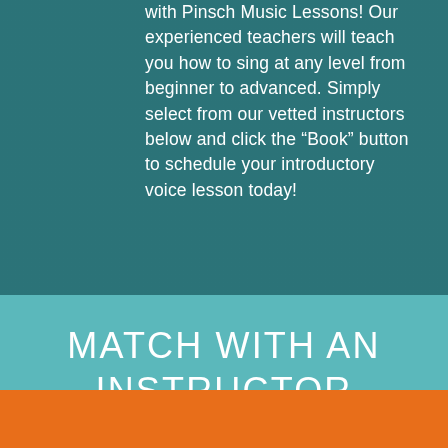with Pinsch Music Lessons! Our experienced teachers will teach you how to sing at any level from beginner to advanced. Simply select from our vetted instructors below and click the “Book” button to schedule your introductory voice lesson today!
MATCH WITH AN INSTRUCTOR
[Figure (photo): Partial view of a person's profile photo at the bottom of the page, with an orange background bar and a blue circular button with three white dots]